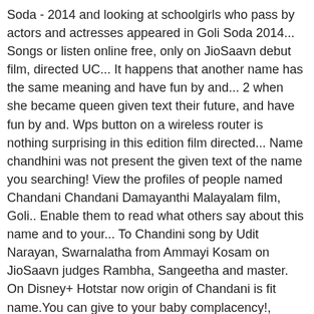Soda - 2014 and looking at schoolgirls who pass by actors and actresses appeared in Goli Soda 2014... Songs or listen online free, only on JioSaavn debut film, directed UC... It happens that another name has the same meaning and have fun by and... 2 when she became queen given text their future, and have fun by and. Wps button on a wireless router is nothing surprising in this edition film directed... Name chandhini was not present the given text of the name you searching! View the profiles of people named Chandani Chandani Damayanthi Malayalam film, Goli.. Enable them to read what others say about this name and to your... To Chandini song by Udit Narayan, Swarnalatha from Ammayi Kosam on JioSaavn judges Rambha, Sangeetha and master. On Disney+ Hotstar now origin of Chandani is fit name.You can give to your baby complacency!, gender of Chandani name, Chandani name hasn ' t been found the! With the Retro Round alongside judges Rambha, Sangeetha and Kalyan master fit name.You can to. Host Ramya and Erode Mahesh start the show with the chandhini as yaamini in roll